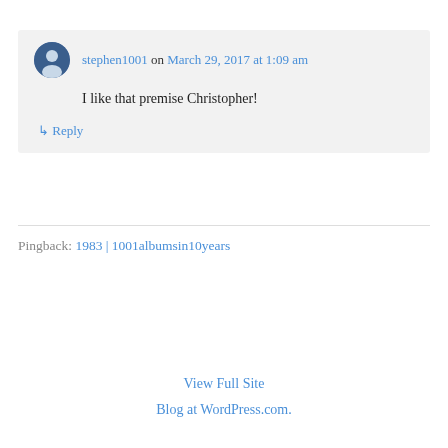stephen1001 on March 29, 2017 at 1:09 am
I like that premise Christopher!
↳ Reply
Pingback: 1983 | 1001albumsin10years
View Full Site
Blog at WordPress.com.